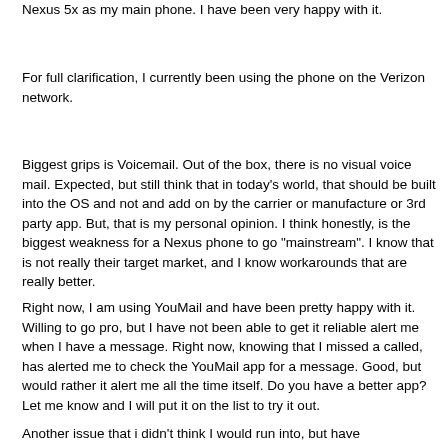Nexus 5x as my main phone.  I have been very happy with it.
For full clarification, I currently been using the phone on the Verizon network.
Biggest grips is Voicemail. Out of the box, there is no visual voice mail. Expected, but still think that in today's world, that should be built into the OS and not and add on by the carrier or manufacture or 3rd party app. But, that is my personal opinion. I think honestly, is the biggest weakness for a Nexus phone to go "mainstream". I know that is not really their target market, and I know workarounds that are really better.
Right now, I am using YouMail and have been pretty happy with it. Willing to go pro, but I have not been able to get it reliable alert me when I have a message. Right now, knowing that I missed a called, has alerted me to check the YouMail app for a message. Good, but would rather it alert me all the time itself. Do you have a better app? Let me know and I will put it on the list to try it out.
Another issue that i didn't think I would run into, but have